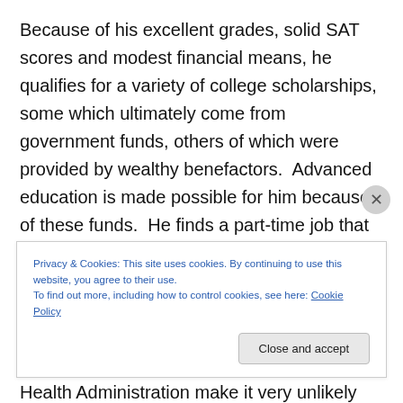Because of his excellent grades, solid SAT scores and modest financial means, he qualifies for a variety of college scholarships, some which ultimately come from government funds, others of which were provided by wealthy benefactors.  Advanced education is made possible for him because of these funds.  He finds a part-time job that covers his living expenses.  It's manual labor, nothing glamorous, but the federal minimum wage laws ensure that he gets fair compensation for his work, and laws enforced by the Occupational Safety and Health Administration make it very unlikely that he'll but put in a
Privacy & Cookies: This site uses cookies. By continuing to use this website, you agree to their use.
To find out more, including how to control cookies, see here: Cookie Policy